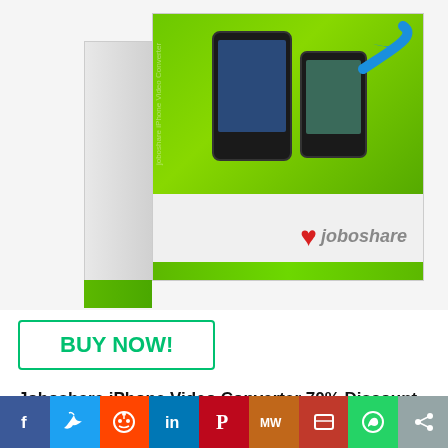[Figure (photo): Joboshare iPhone Video Converter software box product image on white/light gray background, showing green branded box with phone graphics and Joboshare logo]
BUY NOW!
Joboshare iPhone Video Converter 70% Discount Coupon
Joboshare iPhone Video Converter is a very powerful
[Figure (infographic): Social sharing bar with buttons: Facebook, Twitter, Reddit, LinkedIn, Pinterest, MixW, Mix, WhatsApp, Share]